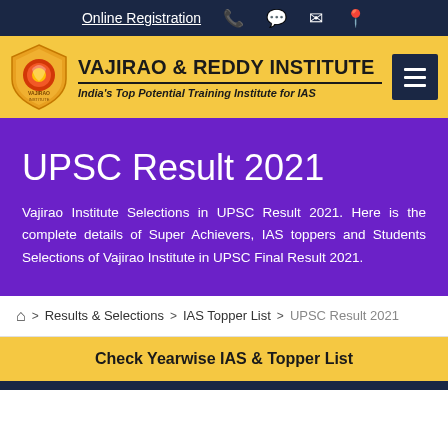Online Registration
[Figure (logo): Vajirao & Reddy Institute logo with shield emblem and institute name: VAJIRAO & REDDY INSTITUTE - India's Top Potential Training Institute for IAS]
UPSC Result 2021
Vajirao Institute Selections in UPSC Result 2021. Here is the complete details of Super Achievers, IAS toppers and Students Selections of Vajirao Institute in UPSC Final Result 2021.
Home > Results & Selections > IAS Topper List > UPSC Result 2021
Check Yearwise IAS & Topper List